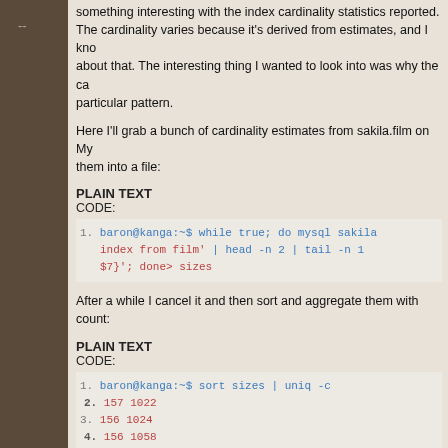something interesting with the index cardinality statistics reported. The cardinality varies because it's derived from estimates, and I know about that. The interesting thing I wanted to look into was why the cardinality had a particular pattern.
Here I'll grab a bunch of cardinality estimates from sakila.film on My and save them into a file:
PLAIN TEXT
CODE:
[Figure (screenshot): Code block showing bash command: baron@kanga:~$ while true; do mysql sakila... index from film' | head -n 2 | tail -n 1 ... $7}'; done> sizes]
After a while I cancel it and then sort and aggregate them with count:
PLAIN TEXT
CODE:
[Figure (screenshot): Code block showing: 1. baron@kanga:~$ sort sizes | uniq -c
2. 157 1022
3. 156 1024
4. 156 1058
5. 156 1059
6. 156 1131
7. 313 951
8. 312 952]